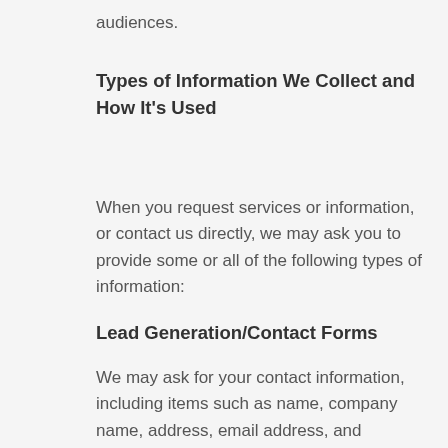audiences.
Types of Information We Collect and How It's Used
When you request services or information, or contact us directly, we may ask you to provide some or all of the following types of information:
Lead Generation/Contact Forms
We may ask for your contact information, including items such as name, company name, address, email address, and telephone number. This information is used to market our products and services.